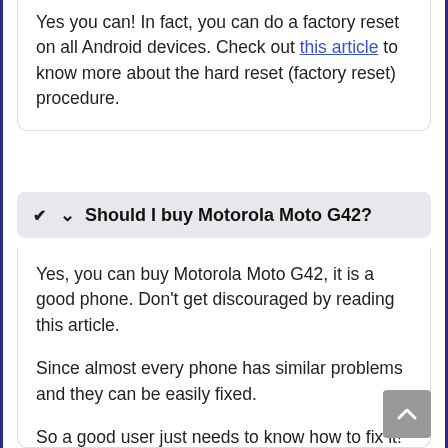Yes you can! In fact, you can do a factory reset on all Android devices. Check out this article to know more about the hard reset (factory reset) procedure.
Should I buy Motorola Moto G42?
Yes, you can buy Motorola Moto G42, it is a good phone. Don't get discouraged by reading this article.
Since almost every phone has similar problems and they can be easily fixed.
So a good user just needs to know how to fix it!